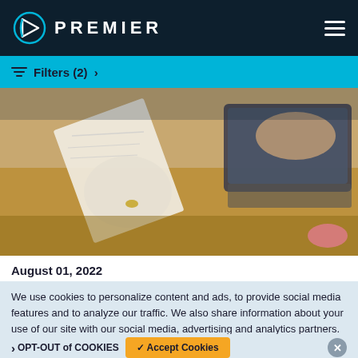PREMIER
Filters (2) >
[Figure (photo): Person holding papers and working on laptop at wooden desk]
August 01, 2022
We use cookies to personalize content and ads, to provide social media features and to analyze our traffic. We also share information about your use of our site with our social media, advertising and analytics partners. Premier, Inc Privacy Policy
OPT-OUT of COOKIES   ✓ Accept Cookies